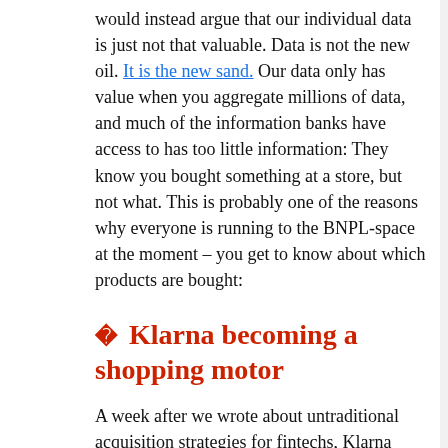would instead argue that our individual data is just not that valuable. Data is not the new oil. It is the new sand. Our data only has value when you aggregate millions of data, and much of the information banks have access to has too little information: They know you bought something at a store, but not what. This is probably one of the reasons why everyone is running to the BNPL-space at the moment – you get to know about which products are bought:
🔲 Klarna becoming a shopping motor
A week after we wrote about untraditional acquisition strategies for fintechs, Klarna acquired Pricerunner, a Swedish price comparison service. The acquisition means that the Klarna universe now will have product reviews, price comparisons, and better opportunities to discover new products. All of this